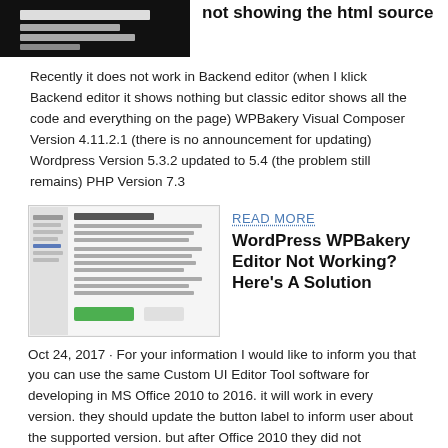[Figure (screenshot): Dark/black background screenshot of a document or editor interface]
not showing the html source
Recently it does not work in Backend editor (when I klick Backend editor it shows nothing but classic editor shows all the code and everything on the page) WPBakery Visual Composer Version 4.11.2.1 (there is no announcement for updating) Wordpress Version 5.3.2 updated to 5.4 (the problem still remains) PHP Version 7.3
[Figure (screenshot): Screenshot of Thesis Custom File Editor plugin interface with green button]
READ MORE
WordPress WPBakery Editor Not Working? Here's A Solution
Oct 24, 2017 · For your information I would like to inform you that you can use the same Custom UI Editor Tool software for developing in MS Office 2010 to 2016. it will work in every version. they should update the button label to inform user about the supported version. but after Office 2010 they did not